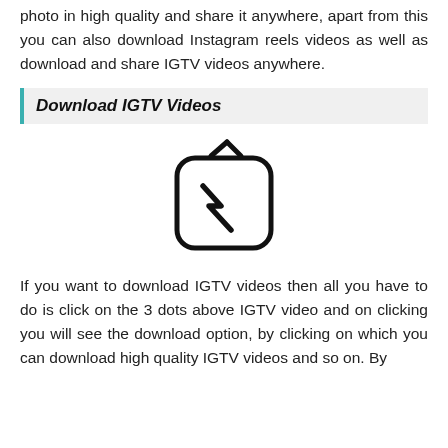photo in high quality and share it anywhere, apart from this you can also download Instagram reels videos as well as download and share IGTV videos anywhere.
Download IGTV Videos
[Figure (illustration): IGTV app icon: a rounded square outline with a lightning bolt / zigzag line inside and antenna lines on top]
If you want to download IGTV videos then all you have to do is click on the 3 dots above IGTV video and on clicking you will see the download option, by clicking on which you can download high quality IGTV videos and so on. By